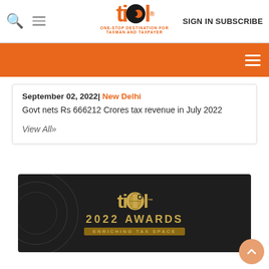tiol - ONE-STOP DESTINATION FOR TAXMAN AND TAXPAYER | SIGN IN SUBSCRIBE
[Figure (screenshot): Orange navigation bar with hamburger menu icon on the right]
September 02, 2022| New Delhi
Govt nets Rs 666212 Crores tax revenue in July 2022
View All»
[Figure (logo): TIOL 2022 AWARDS - ENRICHING TAX SPACE banner with gold text on dark background]